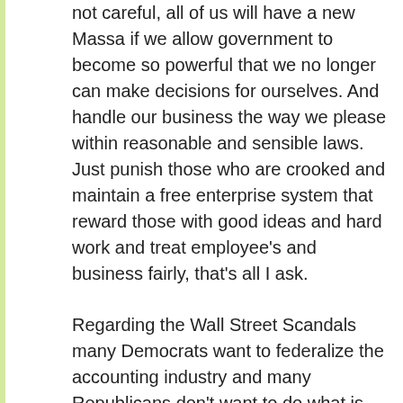not careful, all of us will have a new Massa if we allow government to become so powerful that we no longer can make decisions for ourselves. And handle our business the way we please within reasonable and sensible laws. Just punish those who are crooked and maintain a free enterprise system that reward those with good ideas and hard work and treat employee's and business fairly, that's all I ask.
Regarding the Wall Street Scandals many Democrats want to federalize the accounting industry and many Republicans don't want to do what is needed to limit greed among CEO's, this scares the hell out of me because both attitudes are wrong. Just do what is right, both extremes have the wrong idea about this whole accounting scandal thing, you can see how the influence of lobby money and the hunger for power makes it